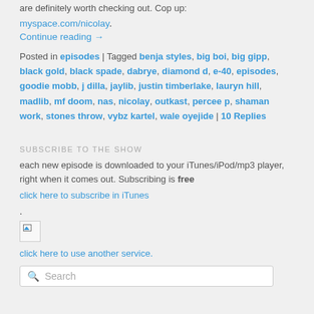are definitely worth checking out. Cop up:
myspace.com/nicolay.
Continue reading →
Posted in episodes | Tagged benja styles, big boi, big gipp, black gold, black spade, dabrye, diamond d, e-40, episodes, goodie mobb, j dilla, jaylib, justin timberlake, lauryn hill, madlib, mf doom, nas, nicolay, outkast, percee p, shaman work, stones throw, vybz kartel, wale oyejide | 10 Replies
SUBSCRIBE TO THE SHOW
each new episode is downloaded to your iTunes/iPod/mp3 player, right when it comes out. Subscribing is free
click here to subscribe in iTunes.
[Figure (photo): Broken/missing image icon]
click here to use another service.
Search